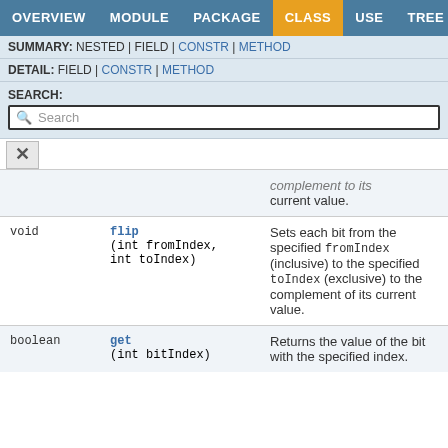OVERVIEW  MODULE  PACKAGE  CLASS  USE  TREE
SUMMARY: NESTED | FIELD | CONSTR | METHOD
DETAIL: FIELD | CONSTR | METHOD
SEARCH:
| Type | Method | Description |
| --- | --- | --- |
|  |  | complement to its current value. |
| void | flip(int fromIndex, int toIndex) | Sets each bit from the specified fromIndex (inclusive) to the specified toIndex (exclusive) to the complement of its current value. |
| boolean | get(int bitIndex) | Returns the value of the bit with the specified index. |